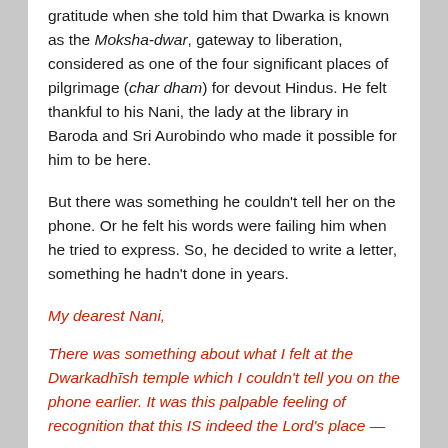gratitude when she told him that Dwarka is known as the Moksha-dwar, gateway to liberation, considered as one of the four significant places of pilgrimage (char dham) for devout Hindus. He felt thankful to his Nani, the lady at the library in Baroda and Sri Aurobindo who made it possible for him to be here.
But there was something he couldn't tell her on the phone. Or he felt his words were failing him when he tried to express. So, he decided to write a letter, something he hadn't done in years.
My dearest Nani,
There was something about what I felt at the Dwarkadhīsh temple which I couldn't tell you on the phone earlier. It was this palpable feeling of recognition that this IS indeed the Lord's place —